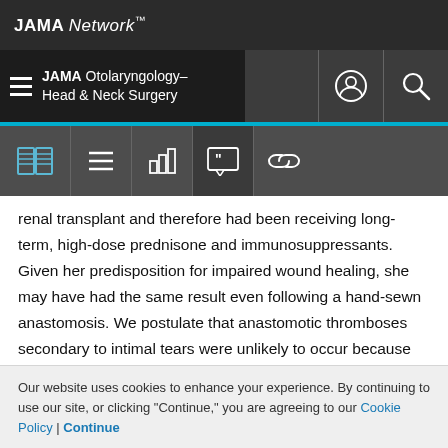JAMA Network™
≡ JAMA Otolaryngology–Head & Neck Surgery
renal transplant and therefore had been receiving long-term, high-dose prednisone and immunosuppressants. Given her predisposition for impaired wound healing, she may have had the same result even following a hand-sewn anastomosis. We postulate that anastomotic thromboses secondary to intimal tears were unlikely to occur because the trauma was likely restricted to the areas of eversion, which were approximated to one another and therefore never exposed to blood flow
Our website uses cookies to enhance your experience. By continuing to use our site, or clicking "Continue," you are agreeing to our Cookie Policy | Continue